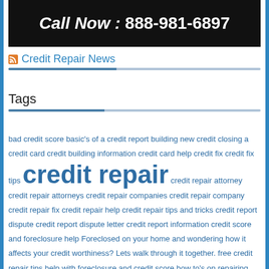[Figure (other): Black banner with bold white text reading 'Call Now : 888-981-6897']
Credit Repair News
Tags
bad credit score basic's of a credit report building new credit closing a credit card credit building information credit card help credit fix credit fix tips credit repair credit repair attorney credit repair attorneys credit repair companies credit repair company credit repair fix credit repair help credit repair tips and tricks credit report dispute credit report dispute letter credit report information credit score and foreclosure help Foreclosed on your home and wondering how it affects your credit worthiness? Lets walk through it together. free credit repair tips help with foreclosure and credit score how to's on repairing credit scores how to repair your credit fast legal credit repair legalities of credit repair quick credit repair repairing your credit score repair your credit repair your credit quickly repair your credit score ten credit repair tips tips on credit repair what is a bad credit score what is a credit